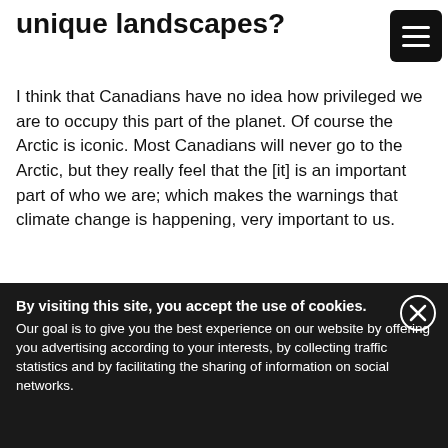unique landscapes?
I think that Canadians have no idea how privileged we are to occupy this part of the planet. Of course the Arctic is iconic. Most Canadians will never go to the Arctic, but they really feel that the [it] is an important part of who we are; which makes the warnings that climate change is happening, very important to us.
[Figure (photo): Arctic/polar sunset photo showing a bright sun through clouds with warm orange and golden tones against a blue-grey sky]
By visiting this site, you accept the use of cookies. Our goal is to give you the best experience on our website by offering you advertising according to your interests, by collecting traffic statistics and by facilitating the sharing of information on social networks.